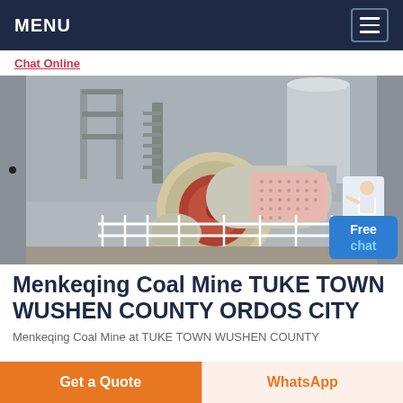MENU
Chat Online
[Figure (photo): Industrial coal mine processing equipment — large cylindrical ball mill with metal framework, stairs, silos/hoppers, and white safety railing in a concrete building interior]
Menkeqing Coal Mine TUKE TOWN WUSHEN COUNTY ORDOS CITY
Menkeqing Coal Mine at TUKE TOWN WUSHEN COUNTY
Get a Quote
WhatsApp